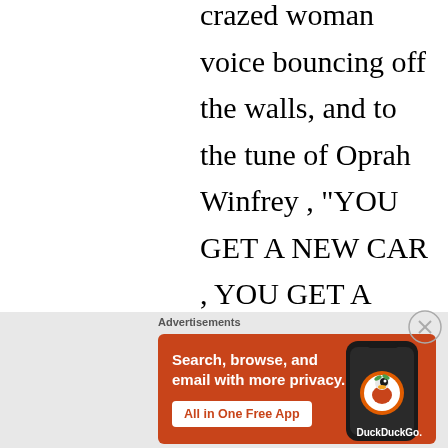crazed woman voice bouncing off the walls, and to the tune of Oprah Winfrey , "YOU GET A NEW CAR , YOU GET A NEW CAR " !! Got the picture ? Here's that's Campbell, yelling "WHO'S GOING TO CHANGE THEIR VOTE ? WILL IT BE YOU ??? WILL IT
[Figure (screenshot): DuckDuckGo advertisement banner with orange background showing 'Search, browse, and email with more privacy. All in One Free App' with a phone mockup and DuckDuckGo logo]